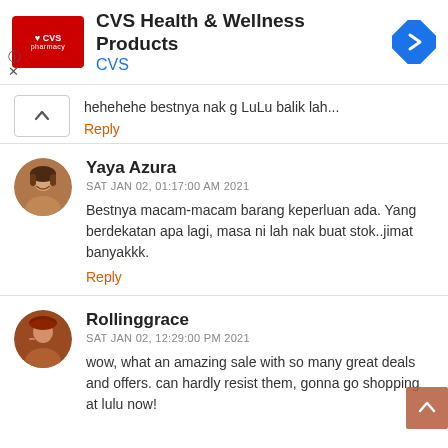[Figure (screenshot): CVS Health & Wellness Products advertisement banner with CVS pharmacy logo (red box with heart and CVS text), title 'CVS Health & Wellness Products', subtitle 'CVS', and a blue navigation/directions diamond icon on the right. Info (i) and X icons on the lower left.]
hehehehe bestnya nak g LuLu balik lah...
Reply
Yaya Azura
SAT JAN 02, 01:17:00 AM 2021
Bestnya macam-macam barang keperluan ada. Yang berdekatan apa lagi, masa ni lah nak buat stok..jimat banyakkk.
Reply
Rollinggrace
SAT JAN 02, 12:29:00 PM 2021
wow, what an amazing sale with so many great deals and offers. can hardly resist them, gonna go shopping at lulu now!